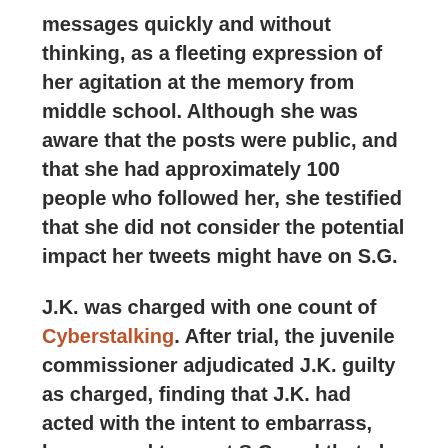messages quickly and without thinking, as a fleeting expression of her agitation at the memory from middle school. Although she was aware that the posts were public, and that she had approximately 100 people who followed her, she testified that she did not consider the potential impact her tweets might have on S.G.
J.K. was charged with one count of Cyberstalking. After trial, the juvenile commissioner adjudicated J.K. guilty as charged, finding that J.K. had acted with the intent to embarrass, harass, and torment S.G. and that she was not credible on the question of whether she had considered the effect the tweets could have before posting them. The court also concluded that the tweets constituted a true threat. J.K. was sentenced to six months of probation and 30 hours of community service. The superior court denied J.K.'s motion to revise.